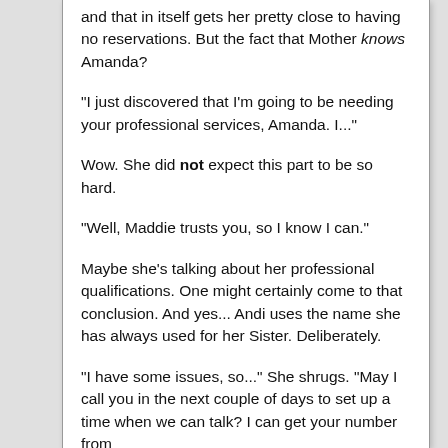and that in itself gets her pretty close to having no reservations. But the fact that Mother knows Amanda?
"I just discovered that I'm going to be needing your professional services, Amanda. I..."
Wow. She did not expect this part to be so hard.
"Well, Maddie trusts you, so I know I can."
Maybe she's talking about her professional qualifications. One might certainly come to that conclusion. And yes... Andi uses the name she has always used for her Sister. Deliberately.
"I have some issues, so..." She shrugs. "May I call you in the next couple of days to set up a time when we can talk? I can get your number from